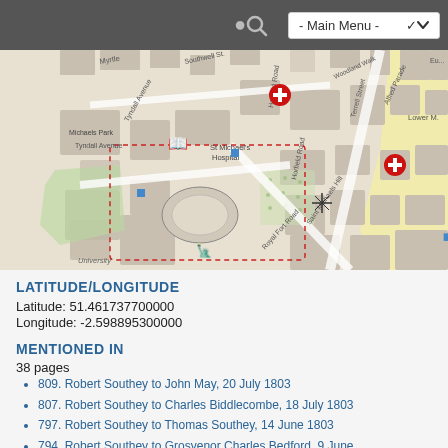- Main Menu -
[Figure (map): Street map showing St Michael's Hospital area in Bristol, with red cross markers indicating hospital/medical locations, blue square markers, and street labels including Tyndall Avenue, Royal Fort Road, Horfield Road, Terrell Street, Alfred Parade, Lower M., Woodland Walk, Southwell St, Myrtle, St Michaels Hill, University.]
LATITUDE/LONGITUDE
Latitude: 51.461737700000
Longitude: -2.598895300000
MENTIONED IN
38 pages
809. Robert Southey to John May, 20 July 1803
807. Robert Southey to Charles Biddlecombe, 18 July 1803
797. Robert Southey to Thomas Southey, 14 June 1803
794. Robert Southey to Grosvenor Charles Bedford, 9 June